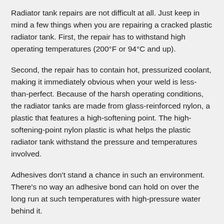Radiator tank repairs are not difficult at all. Just keep in mind a few things when you are repairing a cracked plastic radiator tank. First, the repair has to withstand high operating temperatures (200°F or 94°C and up).
Second, the repair has to contain hot, pressurized coolant, making it immediately obvious when your weld is less-than-perfect. Because of the harsh operating conditions, the radiator tanks are made from glass-reinforced nylon, a plastic that features a high-softening point. The high-softening-point nylon plastic is what helps the plastic radiator tank withstand the pressure and temperatures involved.
Adhesives don't stand a chance in such an environment. There's no way an adhesive bond can hold on over the long run at such temperatures with high-pressure water behind it.
The only true way to patch a plastic radiator tank is with a true fusion weld. The Radiator Repair Kit enables you to melt pure nylon fill material directly into the base material.